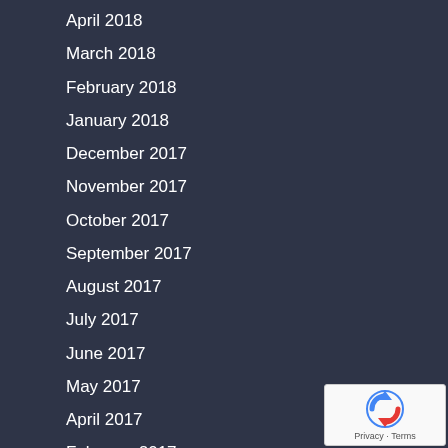April 2018
March 2018
February 2018
January 2018
December 2017
November 2017
October 2017
September 2017
August 2017
July 2017
June 2017
May 2017
April 2017
February 2017
December 2016
November 2016
October 2016
[Figure (other): reCAPTCHA widget with Privacy and Terms text]